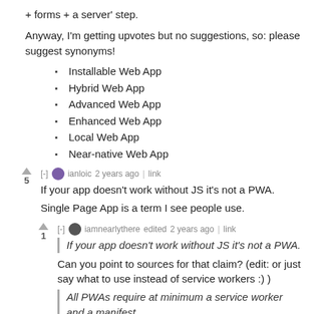+ forms + a server' step.
Anyway, I'm getting upvotes but no suggestions, so: please suggest synonyms!
Installable Web App
Hybrid Web App
Advanced Web App
Enhanced Web App
Local Web App
Near-native Web App
[-] ianloic 2 years ago | link
5
If your app doesn't work without JS it's not a PWA.
Single Page App is a term I see people use.
[-] iamnearlythere edited 2 years ago | link
1
If your app doesn't work without JS it's not a PWA.
Can you point to sources for that claim? (edit: or just say what to use instead of service workers :) )
All PWAs require at minimum a service worker and a manifest